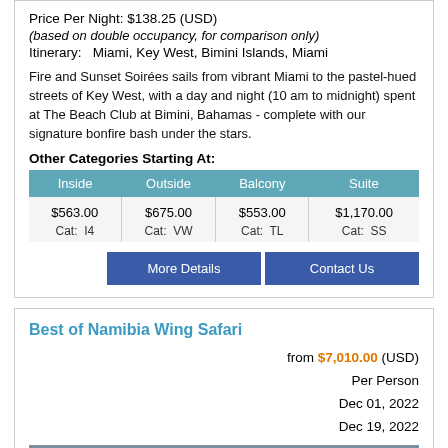Price Per Night: $138.25 (USD)
(based on double occupancy, for comparison only)
Itinerary:   Miami, Key West, Bimini Islands, Miami
Fire and Sunset Soirées sails from vibrant Miami to the pastel-hued streets of Key West, with a day and night (10 am to midnight) spent at The Beach Club at Bimini, Bahamas - complete with our signature bonfire bash under the stars.
Other Categories Starting At:
| Inside | Outside | Balcony | Suite |
| --- | --- | --- | --- |
| $563.00
Cat:  I4 | $675.00
Cat:  VW | $553.00
Cat:  TL | $1,170.00
Cat:  SS |
More Details   Contact Us
Best of Namibia Wing Safari
from $7,010.00 (USD)
Per Person
Dec 01, 2022
Dec 19, 2022
[Figure (photo): Photo/image placeholder for Best of Namibia Wing Safari]